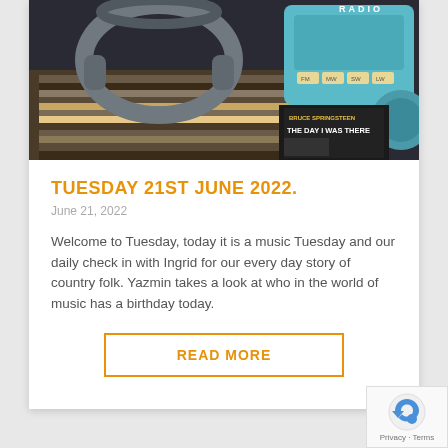[Figure (photo): Photo of headphones resting on vinyl records with a teal vintage radio in the background and a Bruce Springsteen album visible]
TUESDAY 21ST JUNE 2022.
June 21, 2022
Welcome to Tuesday, today it is a music Tuesday and our daily check in with Ingrid for our every day story of country folk. Yazmin takes a look at who in the world of music has a birthday today.
READ MORE